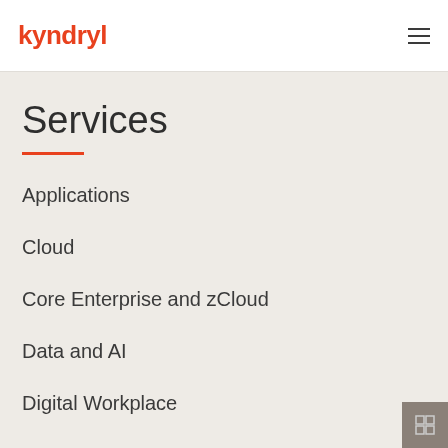kyndryl
Services
Applications
Cloud
Core Enterprise and zCloud
Data and AI
Digital Workplace